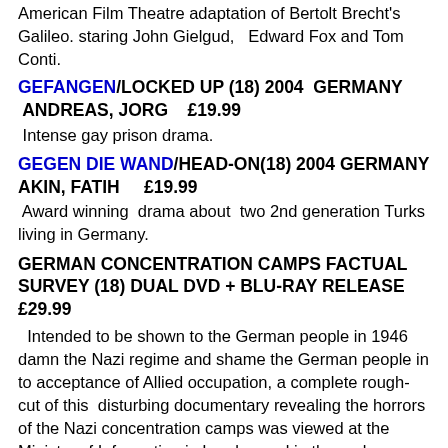American Film Theatre adaptation of Bertolt Brecht's Galileo. staring John Gielgud,  Edward Fox and Tom Conti.
GEFANGEN/LOCKED UP (18) 2004  GERMANY  ANDREAS, JORG    £19.99
Intense gay prison drama.
GEGEN DIE WAND/HEAD-ON(18) 2004 GERMANY AKIN, FATIH    £19.99
Award winning  drama about  two 2nd generation Turks living in Germany.
GERMAN CONCENTRATION CAMPS FACTUAL SURVEY (18) DUAL DVD + BLU-RAY RELEASE £29.99
Intended to be shown to the German people in 1946 damn the Nazi regime and shame the German people in to acceptance of Allied occupation, a complete rough-cut of this  disturbing documentary revealing the horrors of the Nazi concentration camps was viewed at the Ministry of Information in London and in the end never shown.